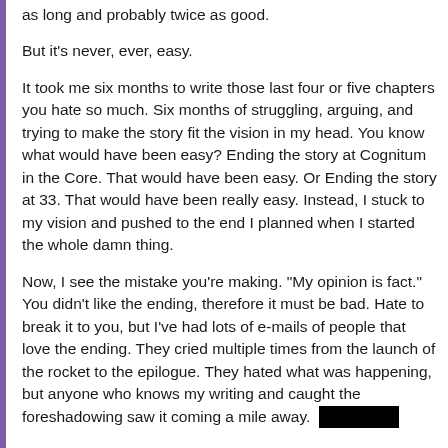as long and probably twice as good.
But it's never, ever, easy.
It took me six months to write those last four or five chapters you hate so much. Six months of struggling, arguing, and trying to make the story fit the vision in my head. You know what would have been easy? Ending the story at Cognitum in the Core. That would have been easy. Or Ending the story at 33. That would have been really easy. Instead, I stuck to my vision and pushed to the end I planned when I started the whole damn thing.
Now, I see the mistake you're making. "My opinion is fact." You didn't like the ending, therefore it must be bad. Hate to break it to you, but I've had lots of e-mails of people that love the ending. They cried multiple times from the launch of the rocket to the epilogue. They hated what was happening, but anyone who knows my writing and caught the foreshadowing saw it coming a mile away. [redacted]